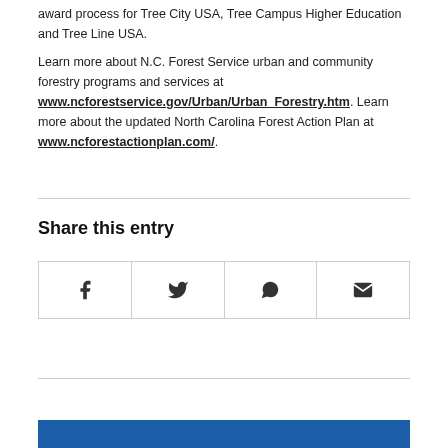award process for Tree City USA, Tree Campus Higher Education and Tree Line USA.
Learn more about N.C. Forest Service urban and community forestry programs and services at www.ncforestservice.gov/Urban/Urban_Forestry.htm. Learn more about the updated North Carolina Forest Action Plan at www.ncforestactionplan.com/.
Share this entry
[Figure (infographic): Social share icons row: Facebook, Twitter, WhatsApp, Email]